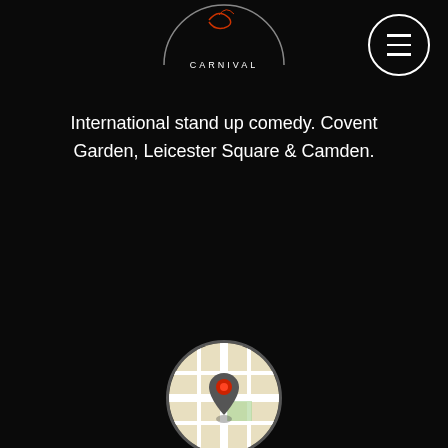[Figure (logo): Comedy Carnival logo partial at top, circular with text CARNIVAL]
[Figure (illustration): Hamburger menu button - white circle with three horizontal bars]
International stand up comedy. Covent Garden, Leicester Square & Camden.
[Figure (illustration): Four social media icons in white circles: Facebook, Twitter, Instagram, WhatsApp]
[Figure (illustration): Map pin icon in circular frame showing a map with location marker]
COMEDY CARNIVAL COVENT GARDEN
42 Earlham Street, London, WC2H 9LA